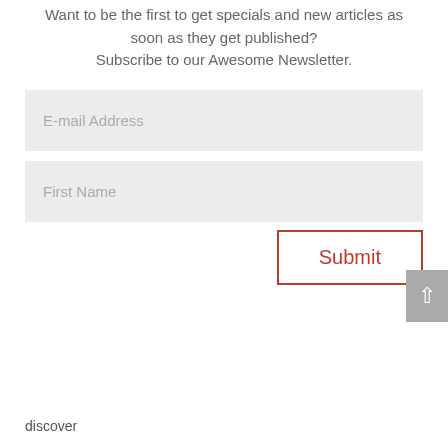Want to be the first to get specials and new articles as soon as they get published? Subscribe to our Awesome Newsletter.
[Figure (other): E-mail Address input field (light grey background form field)]
[Figure (other): First Name input field (light grey background form field)]
[Figure (other): Submit button with red border and red text]
[Figure (other): Scroll-to-top arrow button in grey on right edge]
discover